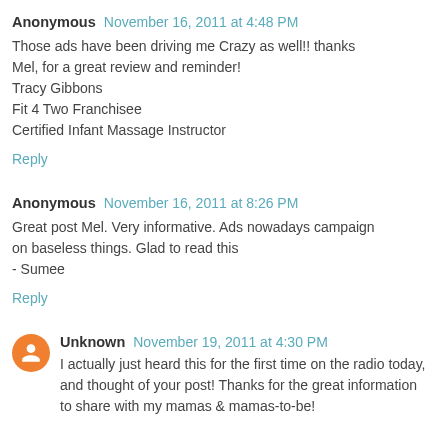Anonymous November 16, 2011 at 4:48 PM
Those ads have been driving me Crazy as well!! thanks Mel, for a great review and reminder!
Tracy Gibbons
Fit 4 Two Franchisee
Certified Infant Massage Instructor
Reply
Anonymous November 16, 2011 at 8:26 PM
Great post Mel. Very informative. Ads nowadays campaign on baseless things. Glad to read this
- Sumee
Reply
Unknown November 19, 2011 at 4:30 PM
I actually just heard this for the first time on the radio today, and thought of your post! Thanks for the great information to share with my mamas & mamas-to-be!